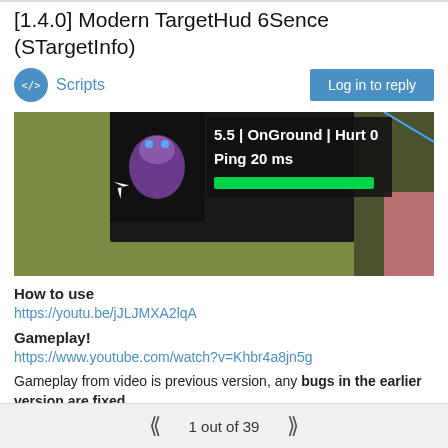[1.4.0] Modern TargetHud 6Sence (STargetInfo)
Scripts
[Figure (screenshot): In-game screenshot showing a HUD overlay with text '5.5 | OnGround | Hurt 0', 'Ping 20 ms', and a green health bar, with a purple character sprite on a dark background in a 3D game environment.]
How to use
https://youtu.be/jJLJMXA2lqA
Gameplay!
https://www.youtube.com/watch?v=Khbr4a8jn5g
Gameplay from video is previous version, any bugs in the earlier version are fixed.
ps if anyone knows how to get eventData.getPartialTicks(); working so the animations don't change on variable frame rate let me know plz thank you
1 out of 39